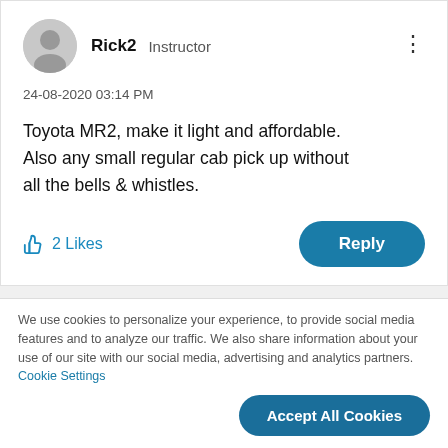[Figure (illustration): User profile avatar placeholder icon (gray silhouette of a person on light gray circle background)]
Rick2  Instructor
24-08-2020 03:14 PM
Toyota MR2, make it light and affordable. Also any small regular cab pick up without all the bells & whistles.
2 Likes
Reply
We use cookies to personalize your experience, to provide social media features and to analyze our traffic. We also share information about your use of our site with our social media, advertising and analytics partners. Cookie Settings
Accept All Cookies